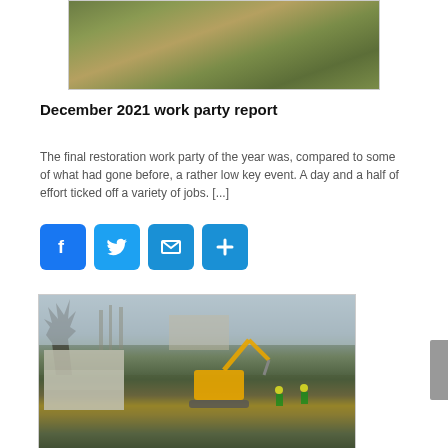[Figure (photo): Aerial or elevated view of a green grassy hillside or embankment with a dirt path running diagonally, brown dead vegetation patches visible]
December 2021 work party report
The final restoration work party of the year was, compared to some of what had gone before, a rather low key event. A day and a half of effort ticked off a variety of jobs. [...]
[Figure (infographic): Social media sharing buttons: Facebook (blue f icon), Twitter (blue bird icon), Email (blue envelope icon), Share (blue plus icon)]
[Figure (photo): Construction site photo showing a yellow Komatsu excavator working near a canal or waterway, with stacked white IBC containers/pallets on the left, workers in high-visibility vests, bare winter trees and buildings in background]